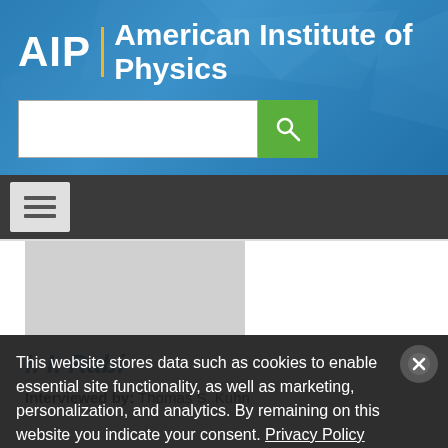[Figure (logo): AIP | American Institute of Physics logo with search bar on blue gradient background with geometric polygon decorations]
[Figure (screenshot): Navigation bar with hamburger menu button on dark background]
[Figure (photo): Gray placeholder image for person photo]
I. I. Rabi
Interviewed by: Thomas S. Kuhn
This website stores data such as cookies to enable essential site functionality, as well as marketing, personalization, and analytics. By remaining on this website you indicate your consent. Privacy Policy